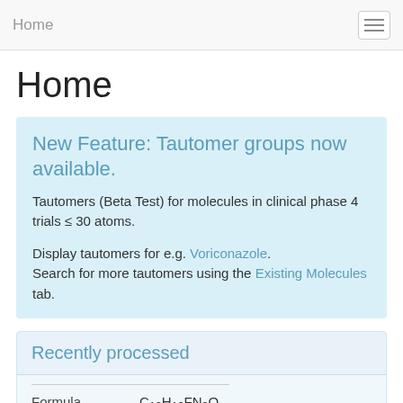Home
Home
New Feature: Tautomer groups now available.
Tautomers (Beta Test) for molecules in clinical phase 4 trials ≤ 30 atoms.
Display tautomers for e.g. Voriconazole. Search for more tautomers using the Existing Molecules tab.
Recently processed
| Formula | C19H16FN3O |
| --- | --- |